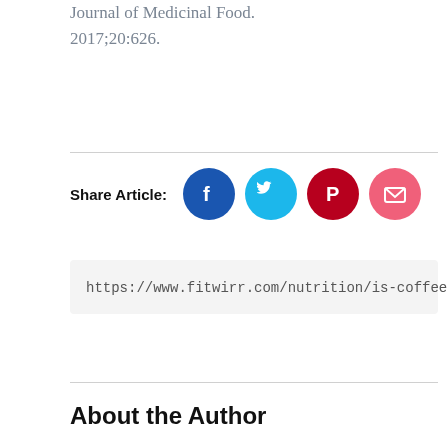extracts with different roasting levels. Journal of Medicinal Food. 2017;20:626.
[Figure (infographic): Share Article section with four social media icon buttons: Facebook (blue circle), Twitter (cyan circle), Pinterest (dark red circle), Email (pink circle)]
https://www.fitwirr.com/nutrition/is-coffee-go
About the Author